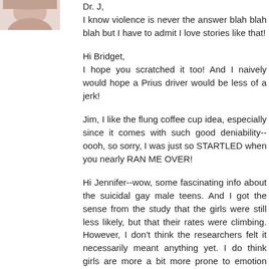[Figure (photo): Partial avatar/profile photo in upper left corner, showing what appears to be a person]
Dr. J,
I know violence is never the answer blah blah blah but I have to admit I love stories like that!
Hi Bridget,
I hope you scratched it too! And I naively would hope a Prius driver would be less of a jerk!
Jim, I like the flung coffee cup idea, especially since it comes with such good deniability--oooh, so sorry, I was just so STARTLED when you nearly RAN ME OVER!
Hi Jennifer--wow, some fascinating info about the suicidal gay male teens. And I got the sense from the study that the girls were still less likely, but that their rates were climbing. However, I don't think the researchers felt it necessarily meant anything yet. I do think girls are more a bit more prone to emotion and dramatics--which of course doesn't mean you don't still take them seriously, but guys are less likely to use a suicide attempt as a method of communication. (And thanks for the vote of confidence, but I'm pretty clueless with teens. Even the ones who aren't in